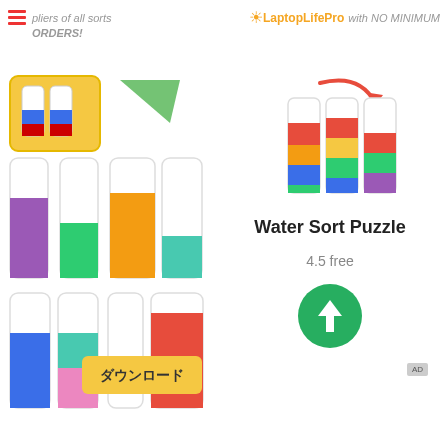* pliers of all sorts ... with NO MINIMUM ORDERS!
[Figure (screenshot): Water Sort Puzzle app page screenshot showing colorful test tube sorting game images, app title 'Water Sort Puzzle', rating '4.5 free', download button (green arrow), and Japanese download label 'ダウンロード']
Water Sort Puzzle
4.5 free